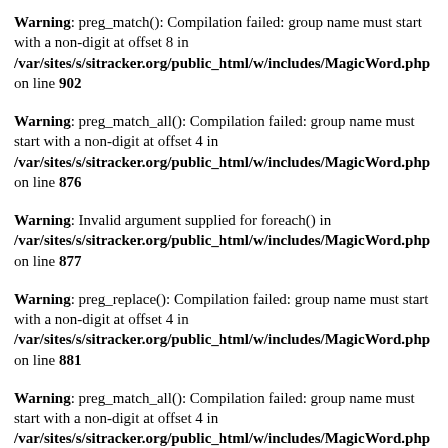Warning: preg_match(): Compilation failed: group name must start with a non-digit at offset 8 in /var/sites/s/sitracker.org/public_html/w/includes/MagicWord.php on line 902
Warning: preg_match_all(): Compilation failed: group name must start with a non-digit at offset 4 in /var/sites/s/sitracker.org/public_html/w/includes/MagicWord.php on line 876
Warning: Invalid argument supplied for foreach() in /var/sites/s/sitracker.org/public_html/w/includes/MagicWord.php on line 877
Warning: preg_replace(): Compilation failed: group name must start with a non-digit at offset 4 in /var/sites/s/sitracker.org/public_html/w/includes/MagicWord.php on line 881
Warning: preg_match_all(): Compilation failed: group name must start with a non-digit at offset 4 in /var/sites/s/sitracker.org/public_html/w/includes/MagicWord.php on line 876